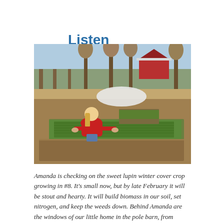Listen – 22:03
[Figure (photo): A woman in a red jacket leaning over a raised garden bed with green cover crop seedlings. Behind her are more raised beds, a white low tunnel, trees with autumn foliage, and a red barn building in the background.]
Amanda is checking on the sweet lupin winter cover crop growing in #8. It's small now, but by late February it will be stout and hearty. It will build biomass in our soil, set nitrogen, and keep the weeds down. Behind Amanda are the windows of our little home in the pole barn, from